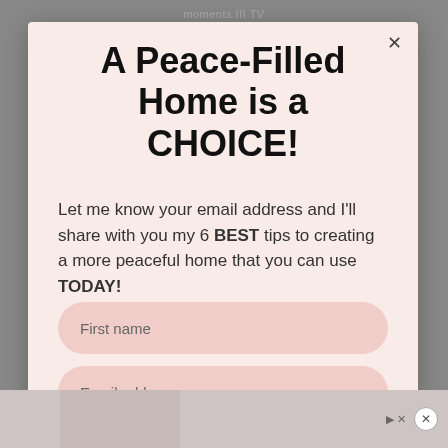moments III TV
A Peace-Filled Home is a CHOICE!
Let me know your email address and I'll share with you my 6 BEST tips to creating a more peaceful home that you can use TODAY!
First name
Email address